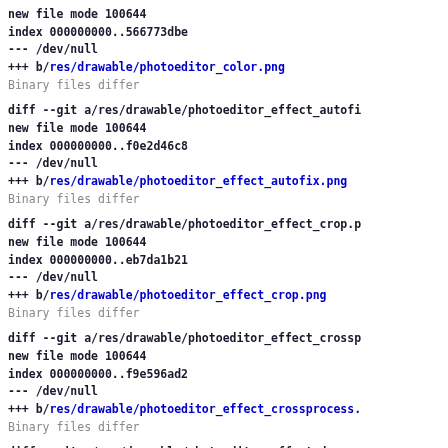new file mode 100644
index 000000000..566773dbe
--- /dev/null
+++ b/res/drawable/photoeditor_color.png
Binary files differ
diff --git a/res/drawable/photoeditor_effect_autofi
new file mode 100644
index 000000000..f0e2d46c8
--- /dev/null
+++ b/res/drawable/photoeditor_effect_autofix.png
Binary files differ
diff --git a/res/drawable/photoeditor_effect_crop.p
new file mode 100644
index 000000000..eb7da1b21
--- /dev/null
+++ b/res/drawable/photoeditor_effect_crop.png
Binary files differ
diff --git a/res/drawable/photoeditor_effect_crossp
new file mode 100644
index 000000000..f9e596ad2
--- /dev/null
+++ b/res/drawable/photoeditor_effect_crossprocess.
Binary files differ
diff --git a/res/drawable/photoeditor_effect_docume
new file mode 100644
index 000000000..92c40f997
--- /dev/null